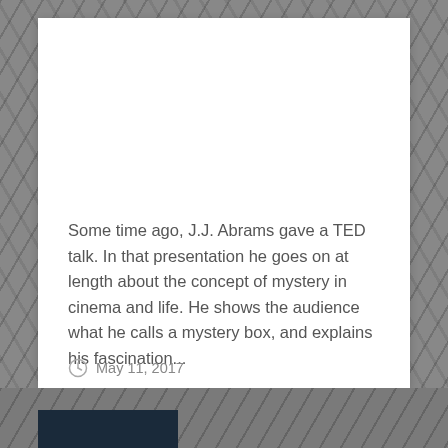Some time ago, J.J. Abrams gave a TED talk. In that presentation he goes on at length about the concept of mystery in cinema and life. He shows the audience what he calls a mystery box, and explains his fascination...
Continue Reading →
May 11, 2017